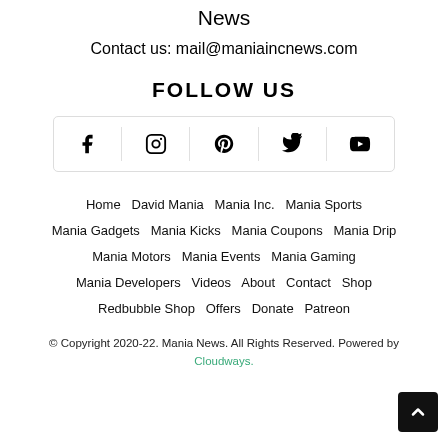News
Contact us: mail@maniaincnews.com
FOLLOW US
[Figure (other): Social media icons bar: Facebook, Instagram, Pinterest, Twitter, YouTube]
Home  David Mania  Mania Inc.  Mania Sports  Mania Gadgets  Mania Kicks  Mania Coupons  Mania Drip  Mania Motors  Mania Events  Mania Gaming  Mania Developers  Videos  About  Contact  Shop  Redbubble Shop  Offers  Donate  Patreon
© Copyright 2020-22. Mania News. All Rights Reserved. Powered by Cloudways.